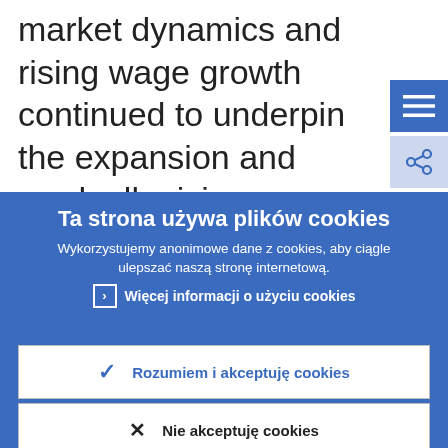market dynamics and rising wage growth continued to underpin the expansion and gradually rising inflation pressures in the euro area. At the same time, it had to be recognised that the risks surrounding the euro area growth outlook had moved to the
[Figure (screenshot): Blue menu icon (hamburger) button in top right corner]
[Figure (screenshot): Share icon button below menu icon]
Ta strona używa plików cookies
Wykorzystujemy anonimowe dane z cookies, aby ciągle ulepszać naszą stronę internetową.
Więcej informacji o użyciu cookies
Rozumiem i akceptuję cookies
Nie akceptuję cookies